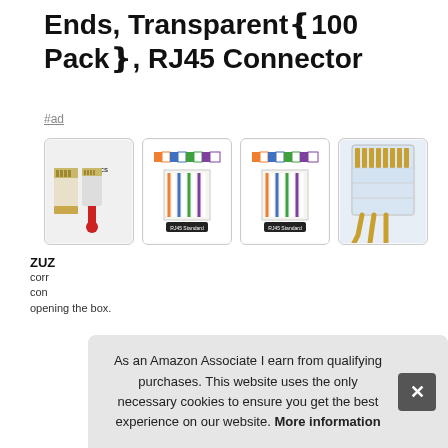Ends, Transparentâ€¸100 Packâ€¹, RJ45 Connector
#ad
[Figure (photo): Four product images of RJ45 connectors showing: 1) physical connector with 100 PCS label, 2) wiring diagram RJ45 standard, 3) wiring diagram RJ45 standard, 4) transparent connector with gold pins close-up]
ZUZ...
corr...
con...
opening the box.
As an Amazon Associate I earn from qualifying purchases. This website uses the only necessary cookies to ensure you get the best experience on our website. More information